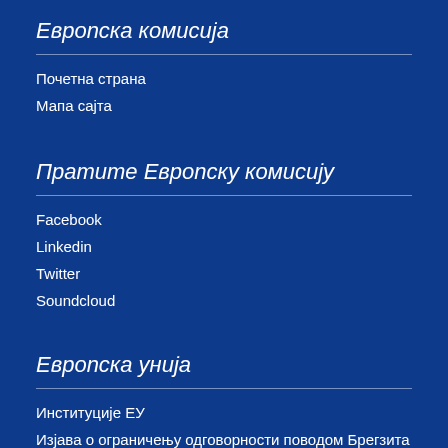Европска комисија
Почетна страна
Мапа сајта
Пратите Европску комисију
Facebook
Linkedin
Twitter
Soundcloud
Европска унија
Институције ЕУ
Изјава о ограничењу одговорности поводом Брегзита
Европска унија